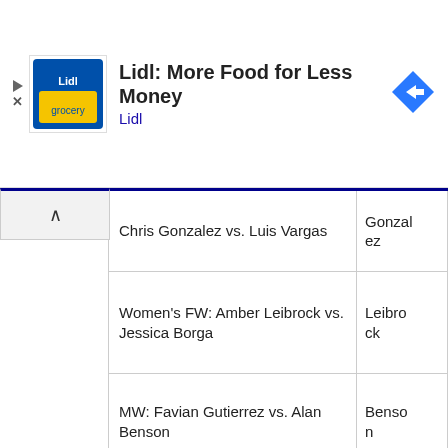[Figure (screenshot): Lidl advertisement banner: Lidl logo, text 'Lidl: More Food for Less Money', subtext 'Lidl', blue navigation arrow icon on right]
| Match | Winner |
| --- | --- |
| Chris Gonzalez vs. Luis Vargas | Gonzalez |
| Women's FW: Amber Leibrock vs. Jessica Borga | Leibrock |
| MW: Favian Gutierrez vs. Alan Benson | Benson |
We use cookies on our website to give you the most relevant experience by remembering your preferences and repeat visits. By clicking “Accept,” you consent to the use of
[Figure (screenshot): World Market advertisement banner: World Market logo, text 'Pop in & Shop New Arrivals', subtext 'World Market', blue navigation arrow icon on right]